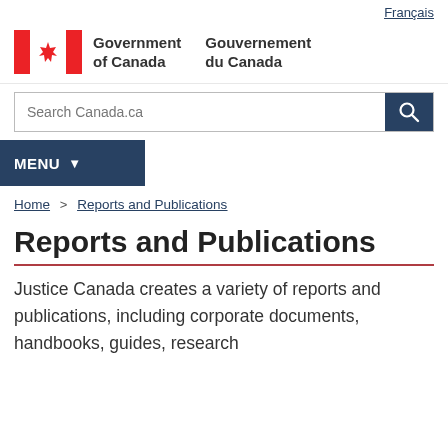Français
[Figure (logo): Government of Canada / Gouvernement du Canada bilingual logo with Canadian flag (red and white maple leaf design)]
[Figure (other): Search Canada.ca search bar with dark blue search button]
MENU
Home > Reports and Publications
Reports and Publications
Justice Canada creates a variety of reports and publications, including corporate documents, handbooks, guides, research